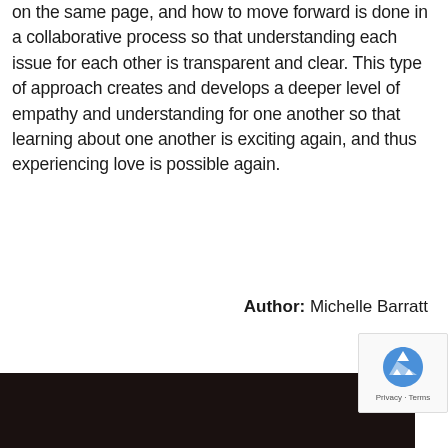on the same page, and how to move forward is done in a collaborative process so that understanding each issue for each other is transparent and clear. This type of approach creates and develops a deeper level of empathy and understanding for one another so that learning about one another is exciting again, and thus experiencing love is possible again.
Author: Michelle Barratt
[Figure (photo): Partial photo of a person, dark/shadowy background, bottom portion of the page]